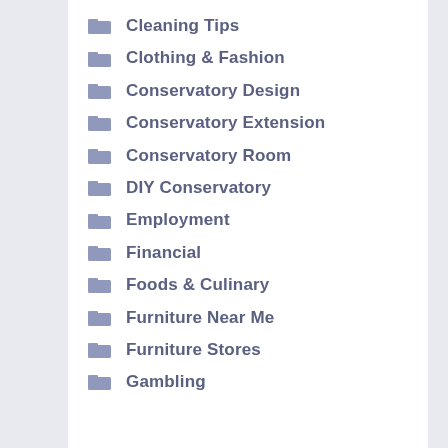Cleaning Tips
Clothing & Fashion
Conservatory Design
Conservatory Extension
Conservatory Room
DIY Conservatory
Employment
Financial
Foods & Culinary
Furniture Near Me
Furniture Stores
Gambling